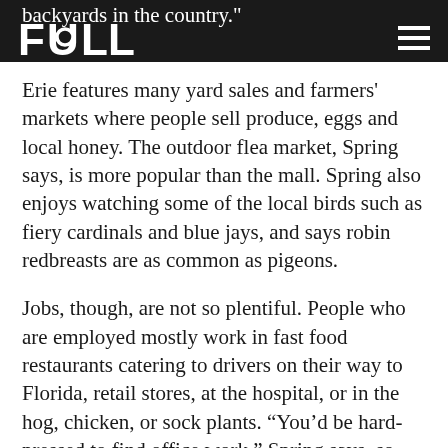backyards in the country."
Erie features many yard sales and farmers' markets where people sell produce, eggs and local honey. The outdoor flea market, Spring says, is more popular than the mall. Spring also enjoys watching some of the local birds such as fiery cardinals and blue jays, and says robin redbreasts are as common as pigeons.
Jobs, though, are not so plentiful. People who are employed mostly work in fast food restaurants catering to drivers on their way to Florida, retail stores, at the hospital, or in the hog, chicken, or sock plants. “You’d be hard-pressed to find office work,” Spring says, so she’s glad her FULL Creative position allows her to work from home anywhere